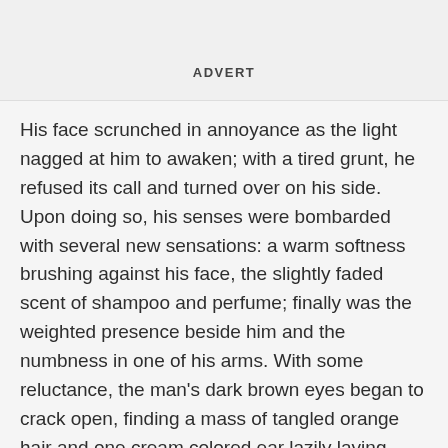ADVERT
His face scrunched in annoyance as the light nagged at him to awaken; with a tired grunt, he refused its call and turned over on his side. Upon doing so, his senses were bombarded with several new sensations: a warm softness brushing against his face, the slightly faded scent of shampoo and perfume; finally was the weighted presence beside him and the numbness in one of his arms. With some reluctance, the man's dark brown eyes began to crack open, finding a mass of tangled orange hair and one cream colored ear lazily laying against it. Glancing over it, he noticed the feminine curve and shape it possessed, as well as how